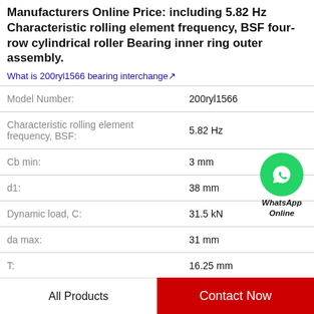Manufacturers Online Price: including 5.82 Hz Characteristic rolling element frequency, BSF four-row cylindrical roller Bearing inner ring outer assembly.
What is 200ryl1566 bearing interchange↗
| Property | Value |
| --- | --- |
| Model Number: | 200ryl1566 |
| Characteristic rolling element frequency, BSF: | 5.82 Hz |
| Cb min: | 3 mm |
| d1: | 38 mm |
| Dynamic load, C: | 31.5 kN |
| da max: | 31 mm |
| T: | 16.25 mm |
All Products | Contact Now